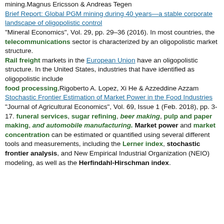mining.Magnus Ericsson & Andreas Tegen Brief Report: Global PGM mining during 40 years—a stable corporate landscape of oligopolistic control "Mineral Economics", Vol. 29, pp. 29–36 (2016). In most countries, the telecommunications sector is characterized by an oligopolistic market structure. Rail freight markets in the European Union have an oligopolistic structure. In the United States, industries that have identified as oligopolistic include food processing,Rigoberto A. Lopez, Xi He & Azzeddine Azzam Stochastic Frontier Estimation of Market Power in the Food Industries "Journal of Agricultural Economics", Vol. 69, Issue 1 (Feb. 2018), pp. 3-17. funeral services, sugar refining, beer making, pulp and paper making, and automobile manufacturing. Market power and market concentration can be estimated or quantified using several different tools and measurements, including the Lerner index, stochastic frontier analysis, and New Empirical Industrial Organization (NEIO) modeling, as well as the Herfindahl-Hirschman index.